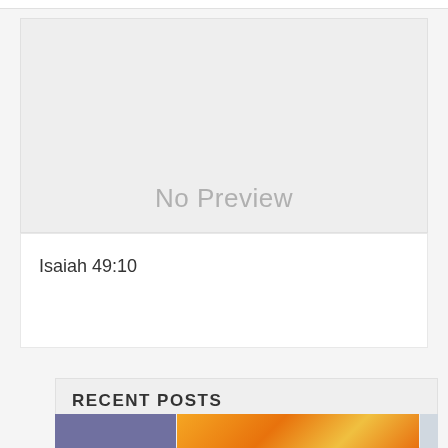[Figure (other): No Preview placeholder image block with light gray background and 'No Preview' text in gray]
Isaiah 49:10
RECENT POSTS
[Figure (photo): Partial view of two photos at the bottom: a purple-toned photo on the left and an orange sunflower-like photo on the right]